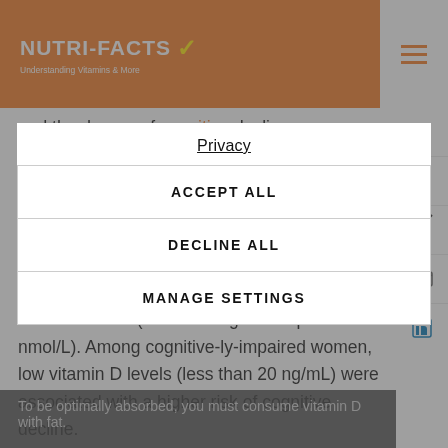NUTRI-FACTS ✓ Understanding Vitamins & More
and the degree of cognitive decline was measured in 6,257 elderly women for four years (2). The study results showed that women with very low vitamin D levels (below 10 ng/mL resp. 25 nmol/L) had a significantly higher risk of developing cognitive impairment than participants with higher blood vitamin D concentrations (above 30 ng/mL resp. 75 nmol/L). Among cognitive-ly-impaired women, low vitamin D levels (less than 20 ng/mL) were associated with a higher risk of cognitive decline.
Privacy
ACCEPT ALL
DECLINE ALL
MANAGE SETTINGS